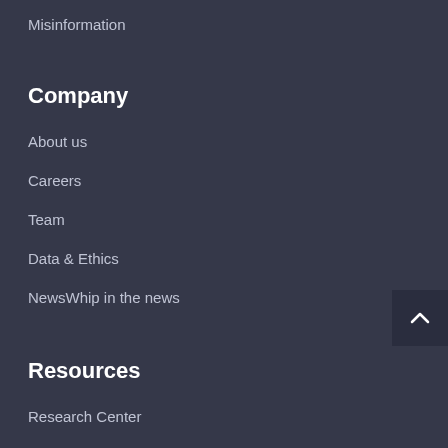Misinformation
Company
About us
Careers
Team
Data & Ethics
NewsWhip in the news
Resources
Research Center
Blog